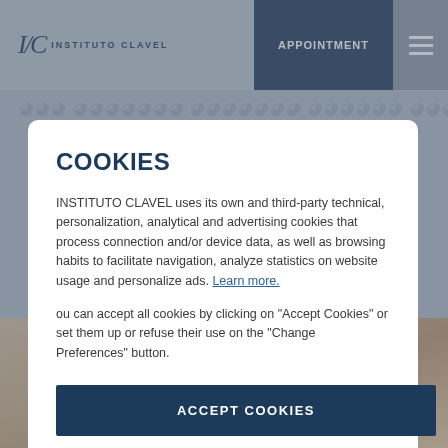INSTITUTO CLAVEL | APPOINTMENT
COOKIES
INSTITUTO CLAVEL uses its own and third-party technical, personalization, analytical and advertising cookies that process connection and/or device data, as well as browsing habits to facilitate navigation, analyze statistics on website usage and personalize ads. Learn more.
ou can accept all cookies by clicking on "Accept Cookies" or set them up or refuse their use on the "Change Preferences" button.
ACCEPT COOKIES
Change Preferences